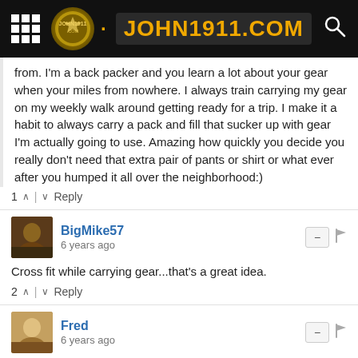[Figure (screenshot): John1911.com website header with grid menu icon, logo badge, site name in yellow on dark background, and search icon]
from. I'm a back packer and you learn a lot about your gear when your miles from nowhere. I always train carrying my gear on my weekly walk around getting ready for a trip. I make it a habit to always carry a pack and fill that sucker up with gear I'm actually going to use. Amazing how quickly you decide you really don't need that extra pair of pants or shirt or what ever after you humped it all over the neighborhood:)
1 ∧ | ∨ Reply
BigMike57
6 years ago
Cross fit while carrying gear...that's a great idea.
2 ∧ | ∨ Reply
Fred
6 years ago
I have forgotten my hoist rope before lol. actually truth be told i usually forget the thing. A couple or years back we had snow for muzzle loader season so i broke out the cross country skis.